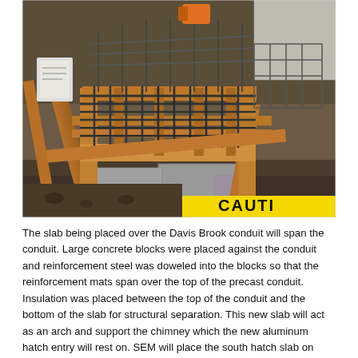[Figure (photo): Construction site photograph showing formwork and reinforcement steel (rebar) mat being placed over a precast concrete conduit in an excavation. Yellow caution tape is visible in the foreground bottom-right corner. Wooden boards form the sides of the formwork, and steel rebar grid is visible inside. Concrete masonry blocks are visible underneath. Construction equipment and a concrete wall are visible in the background.]
The slab being placed over the Davis Brook conduit will span the conduit. Large concrete blocks were placed against the conduit and reinforcement steel was doweled into the blocks so that the reinforcement mats span over the top of the precast conduit. Insulation was placed between the top of the conduit and the bottom of the slab for structural separation. This new slab will act as an arch and support the chimney which the new aluminum hatch entry will rest on. SEM will place the south hatch slab on Monday.